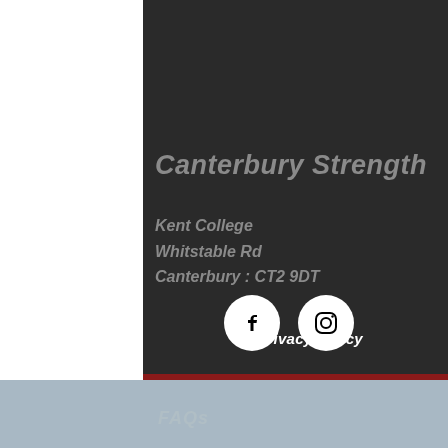Canterbury Strength
Kent College
Whitstable Rd
Canterbury : CT2 9DT
[Figure (illustration): Facebook and Instagram social media icons as white circles with dark symbols]
Privacy Policy
FAQs